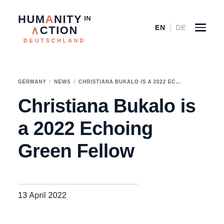HUMANITY IN ACTION DEUTSCHLAND
GERMANY / NEWS / CHRISTIANA BUKALO IS A 2022 EC…
Christiana Bukalo is a 2022 Echoing Green Fellow
13 April 2022